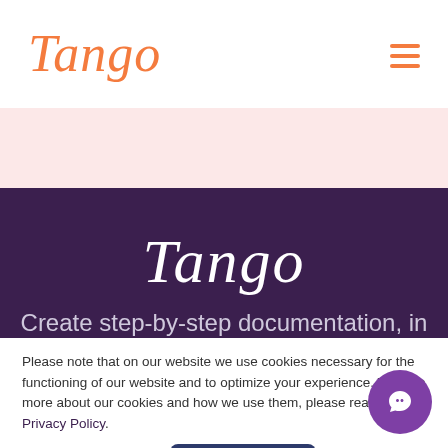[Figure (logo): Tango logo in orange cursive script in top navigation bar]
[Figure (logo): Hamburger menu icon (three horizontal orange lines) in top right of navigation]
[Figure (logo): Tango logo in white cursive script centered on dark purple hero background]
Create step-by-step documentation, in seconds
Please note that on our website we use cookies necessary for the functioning of our website and to optimize your experience. To learn more about our cookies and how we use them, please read our Privacy Policy.
[Figure (other): Accept button - dark navy blue rounded rectangle with white text 'Accept']
[Figure (other): Purple circular chat/support button with white speech bubble icon in bottom right corner]